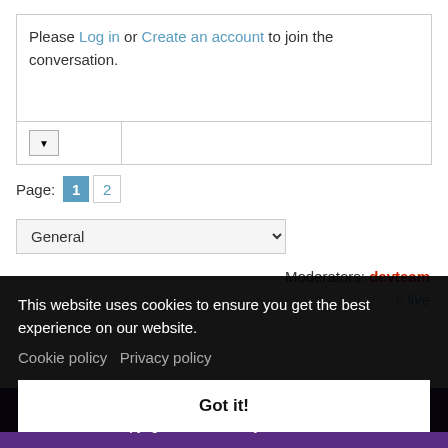Please Log in or Create an account to join the conversation.
Page: 1 2
General (dropdown)
Moderators: devteam
c live
This website uses cookies to ensure you get the best experience on our website.
Cookie policy   Privacy policy
Got it!
Cookie Policy | Privacy Policy | Terms of Use
Copyright © 2009-2022 by miniDSP Ltd